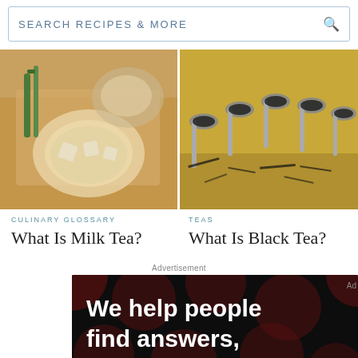SEARCH RECIPES & MORE
[Figure (photo): Overhead view of a glass of milk tea with ice cubes on a wooden board, with green leaves and a cup in the background]
[Figure (photo): Silver spoons filled with various types of loose black tea leaves arranged on a wooden surface]
CULINARY GLOSSARY
What Is Milk Tea?
TEAS
What Is Black Tea?
Advertisement
[Figure (screenshot): Advertisement banner with dark background and dark red dots pattern showing text: We help people find answers, solve problems and get inspired. with Dotdash Meredith logo at the bottom]